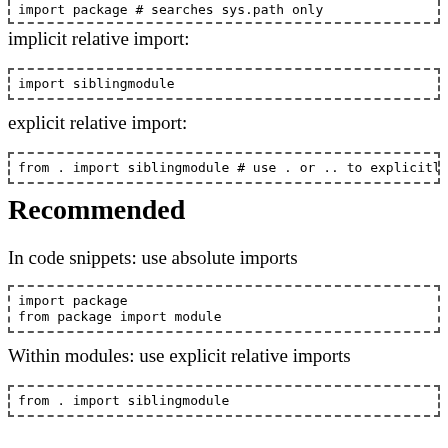[Figure (screenshot): Code snippet: import package    # searches sys.path only]
implicit relative import:
[Figure (screenshot): Code snippet: import siblingmodule]
explicit relative import:
[Figure (screenshot): Code snippet: from . import siblingmodule   # use . or .. to explicitly signify rela]
Recommended
In code snippets: use absolute imports
[Figure (screenshot): Code snippet: import package
from package import module]
Within modules: use explicit relative imports
[Figure (screenshot): Code snippet: from . import siblingmodule]